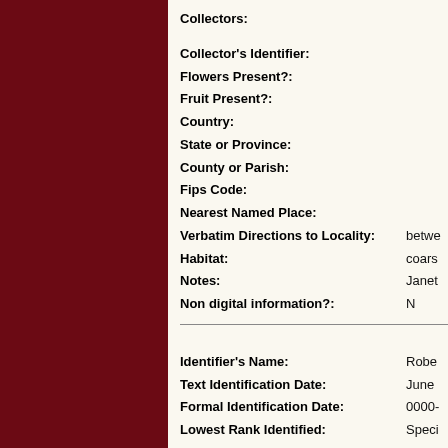Collectors:
Collector's Identifier:
Flowers Present?:
Fruit Present?:
Country:
State or Province:
County or Parish:
Fips Code:
Nearest Named Place:
Verbatim Directions to Locality: betwe
Habitat: coars
Notes: Janet
Non digital information?: N
Identifier's Name: Robe
Text Identification Date: June
Formal Identification Date: 0000-
Lowest Rank Identified: Speci
Identification History: Physa
Determinavit: det.
Identifier's Name: M Y M